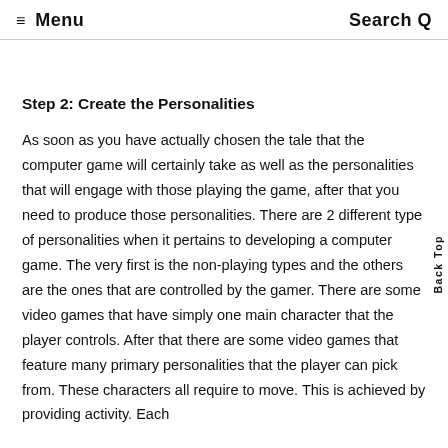≡ Menu   Search Q
Step 2: Create the Personalities
As soon as you have actually chosen the tale that the computer game will certainly take as well as the personalities that will engage with those playing the game, after that you need to produce those personalities. There are 2 different type of personalities when it pertains to developing a computer game. The very first is the non-playing types and the others are the ones that are controlled by the gamer. There are some video games that have simply one main character that the player controls. After that there are some video games that feature many primary personalities that the player can pick from. These characters all require to move. This is achieved by providing activity. Each